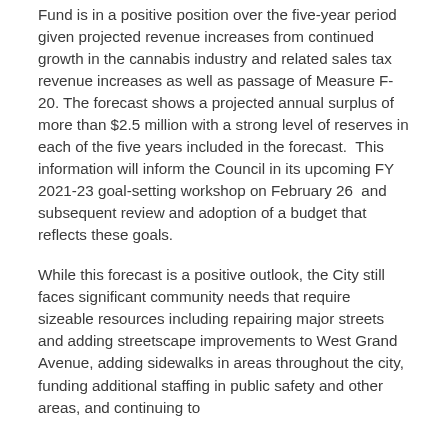Fund is in a positive position over the five-year period given projected revenue increases from continued growth in the cannabis industry and related sales tax revenue increases as well as passage of Measure F-20. The forecast shows a projected annual surplus of more than $2.5 million with a strong level of reserves in each of the five years included in the forecast.  This information will inform the Council in its upcoming FY 2021-23 goal-setting workshop on February 26  and subsequent review and adoption of a budget that reflects these goals.
While this forecast is a positive outlook, the City still faces significant community needs that require sizeable resources including repairing major streets and adding streetscape improvements to West Grand  Avenue, adding sidewalks in areas throughout the city, funding additional staffing in public safety and other areas, and continuing to...